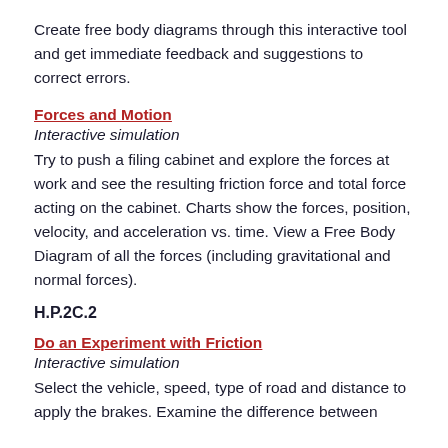Create free body diagrams through this interactive tool and get immediate feedback and suggestions to correct errors.
Forces and Motion
Interactive simulation
Try to push a filing cabinet and explore the forces at work and see the resulting friction force and total force acting on the cabinet. Charts show the forces, position, velocity, and acceleration vs. time. View a Free Body Diagram of all the forces (including gravitational and normal forces).
H.P.2C.2
Do an Experiment with Friction
Interactive simulation
Select the vehicle, speed, type of road and distance to apply the brakes. Examine the difference between